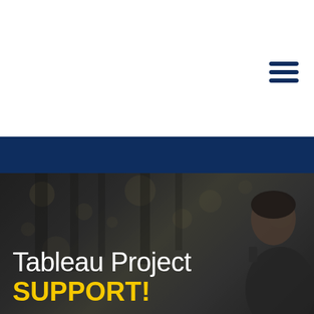[Figure (screenshot): White header area with hamburger menu icon (three dark navy horizontal bars) in top right corner]
[Figure (screenshot): Dark navy navigation bar with white hamburger menu icon (three white horizontal bars) on the right side]
[Figure (photo): Hero image showing a blurred dark background with bokeh lights and a person visible on the right side, partially cropped]
Tableau Project SUPPORT!